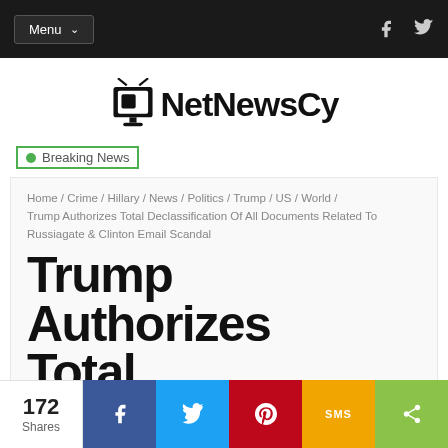Menu
[Figure (logo): NetNewsCy logo with TV icon]
[Figure (other): Breaking News banner/tag]
Home / Crime / Hillary / News / Politics / Trump / US / World / Trump Authorizes Total Declassification Of All Documents Related To Russiagate & Clinton Email Scandal
Trump Authorizes Total